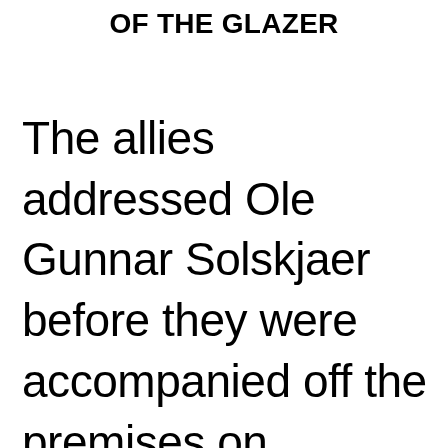OF THE GLAZER
The allies addressed Ole Gunnar Solskjaer before they were accompanied off the premises on Thursday morning